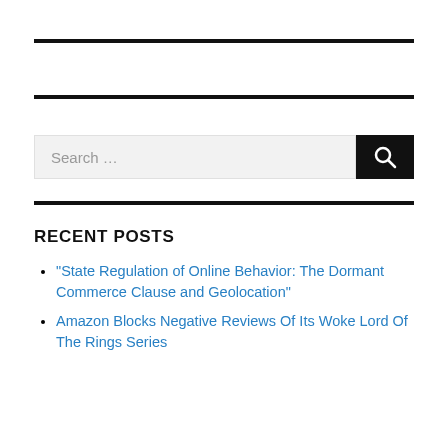[Figure (other): Horizontal thick black rule near top of page]
[Figure (other): Horizontal thick black rule]
Search …
[Figure (other): Horizontal thick black rule]
RECENT POSTS
“State Regulation of Online Behavior: The Dormant Commerce Clause and Geolocation”
Amazon Blocks Negative Reviews Of Its Woke Lord Of The Rings Series